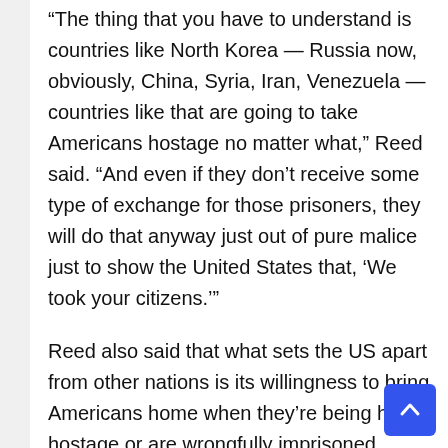“The thing that you have to understand is countries like North Korea — Russia now, obviously, China, Syria, Iran, Venezuela — countries like that are going to take Americans hostage no matter what,” Reed said. “And even if they don’t receive some type of exchange for those prisoners, they will do that anyway just out of pure malice just to show the United States that, ‘We took your citizens.’”
Reed also said that what sets the US apart from other nations is its willingness to bring Americans home when they’re being held hostage or are wrongfully imprisoned abroad.
“(The) United States went out and made the ethical decision to exchange prisoners to get their innocent Americans out of that country,